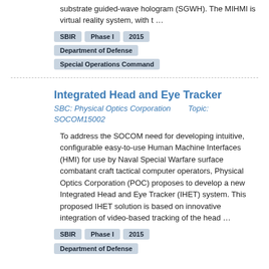substrate guided-wave hologram (SGWH). The MIHMI is virtual reality system, with t …
SBIR   Phase I   2015
Department of Defense
Special Operations Command
Integrated Head and Eye Tracker
SBC: Physical Optics Corporation        Topic: SOCOM15002
To address the SOCOM need for developing intuitive, configurable easy-to-use Human Machine Interfaces (HMI) for use by Naval Special Warfare surface combatant craft tactical computer operators, Physical Optics Corporation (POC) proposes to develop a new Integrated Head and Eye Tracker (IHET) system. This proposed IHET solution is based on innovative integration of video-based tracking of the head …
SBIR   Phase I   2015
Department of Defense